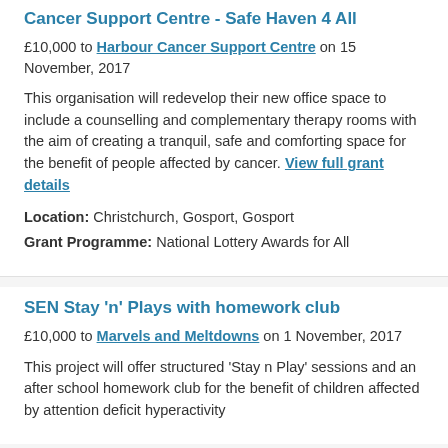Cancer Support Centre - Safe Haven 4 All
£10,000 to Harbour Cancer Support Centre on 15 November, 2017
This organisation will redevelop their new office space to include a counselling and complementary therapy rooms with the aim of creating a tranquil, safe and comforting space for the benefit of people affected by cancer. View full grant details
Location: Christchurch, Gosport, Gosport
Grant Programme: National Lottery Awards for All
SEN Stay 'n' Plays with homework club
£10,000 to Marvels and Meltdowns on 1 November, 2017
This project will offer structured 'Stay n Play' sessions and an after school homework club for the benefit of children affected by attention deficit hyperactivity